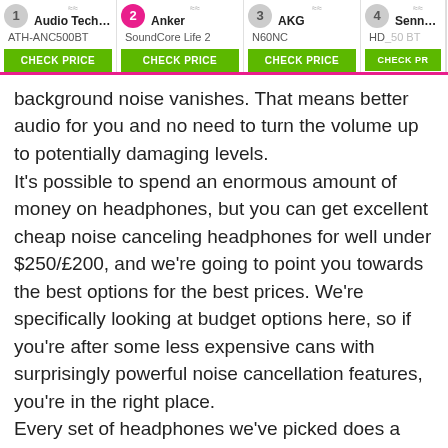[Figure (other): Product comparison bar with 4 headphone products: 1) Audio Technica ATH-ANC500BT, 2) Anker SoundCore Life 2 (highlighted with pink badge), 3) AKG N60NC, 4) Sennheiser HD 50BT (partially visible). Each has a CHECK PRICE green button. Navigation arrow on right.]
background noise vanishes. That means better audio for you and no need to turn the volume up to potentially damaging levels.
It's possible to spend an enormous amount of money on headphones, but you can get excellent cheap noise canceling headphones for well under $250/£200, and we're going to point you towards the best options for the best prices. We're specifically looking at budget options here, so if you're after some less expensive cans with surprisingly powerful noise cancellation features, you're in the right place.
Every set of headphones we've picked does a great job of active noise cancelation, and some are